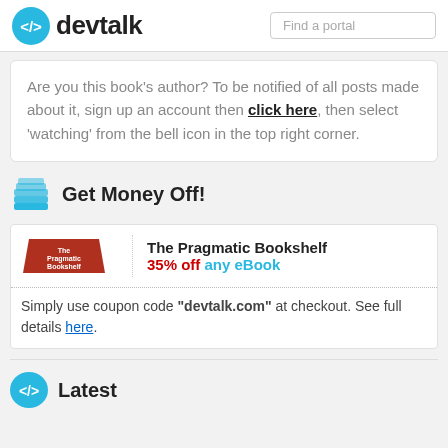devtalk | Find a portal
Are you this book's author? To be notified of all posts made about it, sign up an account then click here, then select 'watching' from the bell icon in the top right corner.
Get Money Off!
[Figure (logo): The Pragmatic Bookshelf logo with red trapezoid background]
The Pragmatic Bookshelf
35% off any eBook
Simply use coupon code "devtalk.com" at checkout. See full details here.
Latest